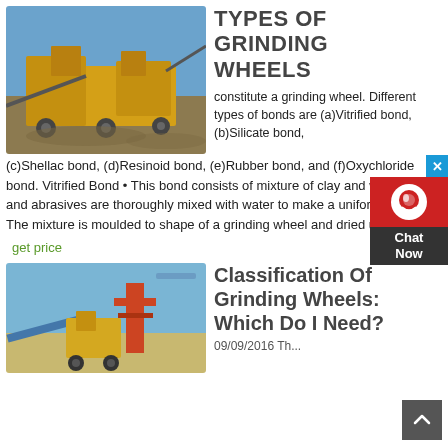[Figure (photo): Outdoor photo of yellow heavy mining/crushing equipment machinery on a clear day with blue sky]
TYPES OF GRINDING WHEELS
constitute a grinding wheel. Different types of bonds are (a)Vitrified bond, (b)Silicate bond, (c)Shellac bond, (d)Resinoid bond, (e)Rubber bond, and (f)Oxychloride bond. Vitrified Bond • This bond consists of mixture of clay and water. • Clay and abrasives are thoroughly mixed with water to make a uniform mixture. • The mixture is moulded to shape of a grinding wheel and dried up to
get price
[Figure (photo): Outdoor photo of industrial machinery/equipment with blue sky background]
Classification Of Grinding Wheels: Which Do I Need?
09/09/2016 Th...